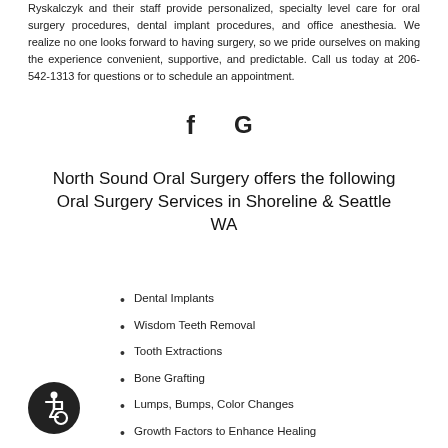Ryskalczyk and their staff provide personalized, specialty level care for oral surgery procedures, dental implant procedures, and office anesthesia. We realize no one looks forward to having surgery, so we pride ourselves on making the experience convenient, supportive, and predictable. Call us today at 206-542-1313 for questions or to schedule an appointment.
[Figure (logo): Facebook and Google social media icons]
North Sound Oral Surgery offers the following Oral Surgery Services in Shoreline & Seattle WA
Dental Implants
Wisdom Teeth Removal
Tooth Extractions
Bone Grafting
Lumps, Bumps, Color Changes
Growth Factors to Enhance Healing
Anesthesia
3D Imaging
[Figure (illustration): Accessibility wheelchair icon in dark circle]